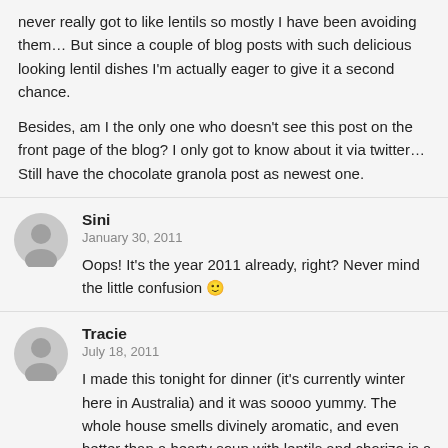never really got to like lentils so mostly I have been avoiding them… But since a couple of blog posts with such delicious looking lentil dishes I'm actually eager to give it a second chance.

Besides, am I the only one who doesn't see this post on the front page of the blog? I only got to know about it via twitter… Still have the chocolate granola post as newest one.
Sini
January 30, 2011
Oops! It's the year 2011 already, right? Never mind the little confusion 🙂
Tracie
July 18, 2011
I made this tonight for dinner (it's currently winter here in Australia) and it was soooo yummy. The whole house smells divinely aromatic, and even better than a hearty soup with lentils and chorizo is a hearty soup with a poached egg on top! I love the egg on top so much that I'm now wondering what other soups I could add an egg to! I look forward to continuing the rest, but for the next…